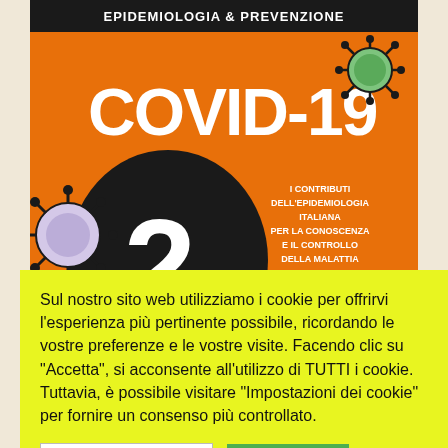EPIDEMIOLOGIA & PREVENZIONE
[Figure (illustration): Magazine cover for Epidemiologia & Prevenzione journal, COVID-19 issue 2. Orange background with large COVID-19 title text, large number 2, coronavirus illustrations, and Italian text about epidemiology contributions.]
Sul nostro sito web utilizziamo i cookie per offrirvi l'esperienza più pertinente possibile, ricordando le vostre preferenze e le vostre visite. Facendo clic su "Accetta", si acconsente all'utilizzo di TUTTI i cookie. Tuttavia, è possibile visitare "Impostazioni dei cookie" per fornire un consenso più controllato.
Impostazioni Cookie
Accetta